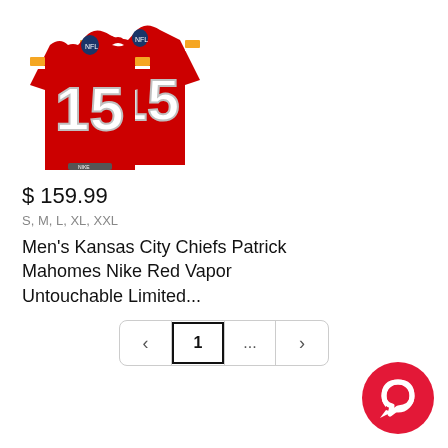[Figure (photo): Two overlapping red Kansas City Chiefs #15 Patrick Mahomes Nike football jerseys with white numbers and gold/yellow stripes]
$ 159.99
S, M, L, XL, XXL
Men's Kansas City Chiefs Patrick Mahomes Nike Red Vapor Untouchable Limited...
[Figure (other): Pagination control showing left arrow, page 1 (selected), ellipsis, and right arrow]
[Figure (other): Red circular chat/message icon button in bottom right corner]